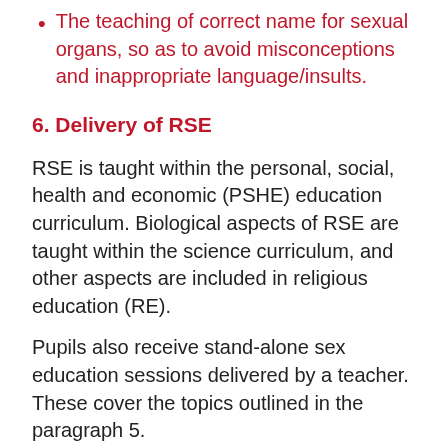The teaching of correct name for sexual organs, so as to avoid misconceptions and inappropriate language/insults.
6. Delivery of RSE
RSE is taught within the personal, social, health and economic (PSHE) education curriculum. Biological aspects of RSE are taught within the science curriculum, and other aspects are included in religious education (RE).
Pupils also receive stand-alone sex education sessions delivered by a teacher. These cover the topics outlined in the paragraph 5.